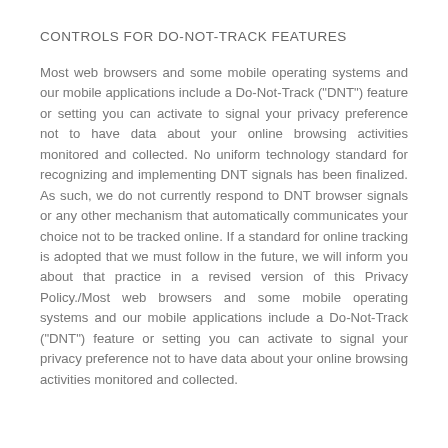CONTROLS FOR DO-NOT-TRACK FEATURES
Most web browsers and some mobile operating systems and our mobile applications include a Do-Not-Track ("DNT") feature or setting you can activate to signal your privacy preference not to have data about your online browsing activities monitored and collected. No uniform technology standard for recognizing and implementing DNT signals has been finalized. As such, we do not currently respond to DNT browser signals or any other mechanism that automatically communicates your choice not to be tracked online. If a standard for online tracking is adopted that we must follow in the future, we will inform you about that practice in a revised version of this Privacy Policy./Most web browsers and some mobile operating systems and our mobile applications include a Do-Not-Track ("DNT") feature or setting you can activate to signal your privacy preference not to have data about your online browsing activities monitored and collected.